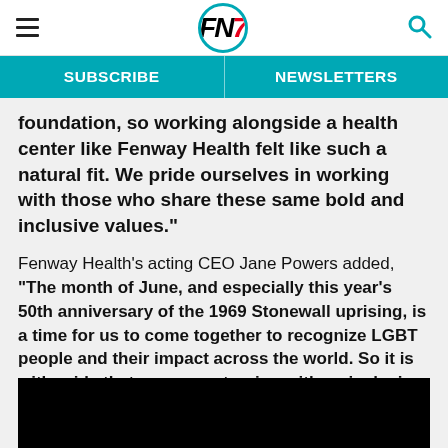FN7 [logo]
SUBSCRIBE | NEWSLETTERS
foundation, so working alongside a health center like Fenway Health felt like such a natural fit. We pride ourselves in working with those who share these same bold and inclusive values."
Fenway Health's acting CEO Jane Powers added, "“The month of June, and especially this year’s 50th anniversary of the 1969 Stonewall uprising, is a time for us to come together to recognize LGBT people and their impact across the world. So it is with pride that we are partnering with an inclusive, innovative and global brand like Reebok to help mark this year’s occasion."
[Figure (photo): Black image/photo at the bottom of the page]